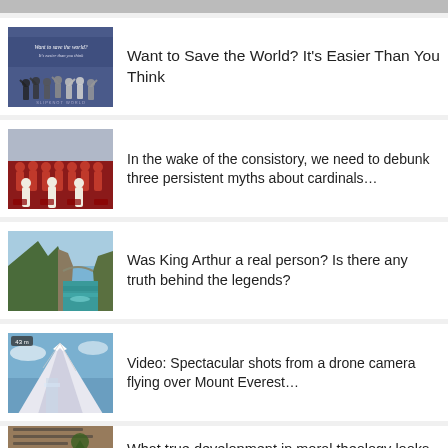[Figure (screenshot): Top partial strip image (cropped at top)]
[Figure (photo): People standing in a row with raised arms on a banner reading 'Want to save the world? It's easier than you think']
Want to Save the World? It's Easier Than You Think
[Figure (photo): Group of Catholic cardinals in red robes seated together]
In the wake of the consistory, we need to debunk three persistent myths about cardinals…
[Figure (photo): Coastal cliffs with turquoise water, likely Tintagel or similar rugged coastline]
Was King Arthur a real person? Is there any truth behind the legends?
[Figure (photo): Aerial shot of snow-capped mountain peaks, likely Mount Everest, with video overlay badge]
Video: Spectacular shots from a drone camera flying over Mount Everest…
[Figure (photo): Partial thumbnail of a brownish image, article about moral theology]
What true development in moral theology looks like…